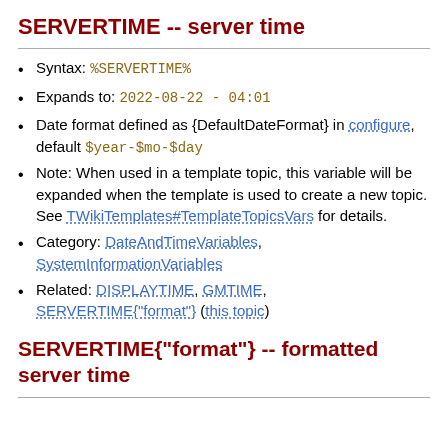SERVERTIME -- server time
Syntax: %SERVERTIME%
Expands to: 2022-08-22 - 04:01
Date format defined as {DefaultDateFormat} in configure, default $year-$mo-$day
Note: When used in a template topic, this variable will be expanded when the template is used to create a new topic. See TWikiTemplates#TemplateTopicsVars for details.
Category: DateAndTimeVariables, SystemInformationVariables
Related: DISPLAYTIME, GMTIME, SERVERTIME{"format"} (this topic)
SERVERTIME{"format"} -- formatted server time